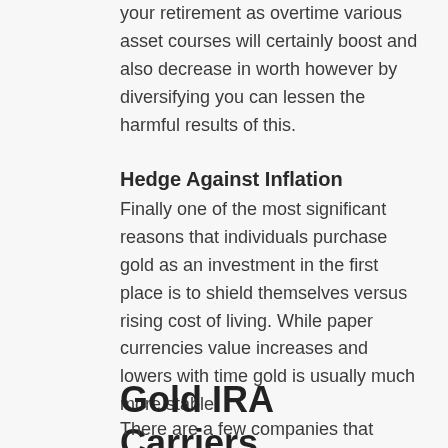your retirement as overtime various asset courses will certainly boost and also decrease in worth however by diversifying you can lessen the harmful results of this.
Hedge Against Inflation
Finally one of the most significant reasons that individuals purchase gold as an investment in the first place is to shield themselves versus rising cost of living. While paper currencies value increases and lowers with time gold is usually much more stable.
Gold IRA Carriers
There are a few companies that supply the services of gold IRAs. Not all of them